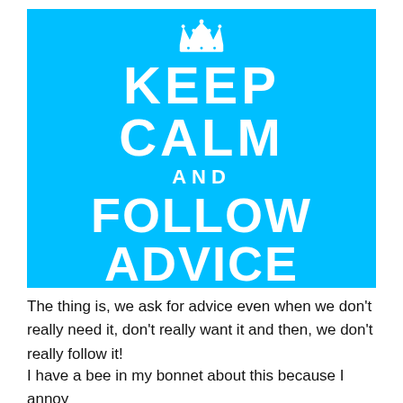[Figure (illustration): Blue 'Keep Calm and Follow Advice' poster with a white crown at the top and white bold uppercase text.]
The thing is, we ask for advice even when we don't really need it, don't really want it and then, we don't really follow it!
I have a bee in my bonnet about this because I annoy